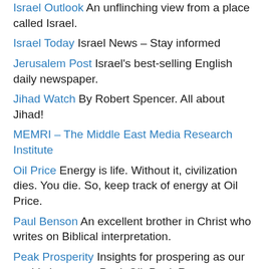Israel Outlook An unflinching view from a place called Israel.
Israel Today Israel News – Stay informed
Jerusalem Post Israel's best-selling English daily newspaper.
Jihad Watch By Robert Spencer. All about Jihad!
MEMRI – The Middle East Media Research Institute
Oil Price Energy is life. Without it, civilization dies. You die. So, keep track of energy at Oil Price.
Paul Benson An excellent brother in Christ who writes on Biblical interpretation.
Peak Prosperity Insights for prospering as our world changes – Peak Oil, Peak Resources, etc.
Rebel Planet Dispatch The inhabitants of earth